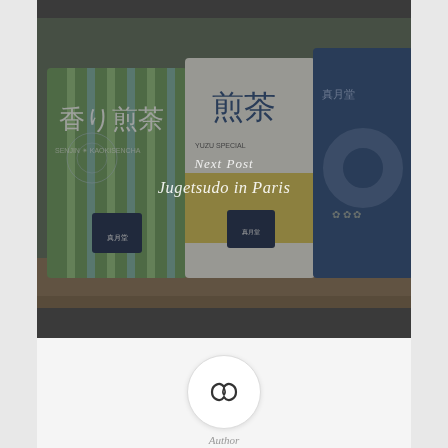[Figure (photo): Photograph of Japanese tea canisters (sencha) on a shelf, partially overlaid with dark semi-transparent filter. Text overlaid: 'Next Post' and 'Jugetsudo in Paris'.]
Next Post
Jugetsudo in Paris
[Figure (logo): Small circular avatar icon showing a stylized knot/loop illustration, white background with thin border.]
Author
Renate